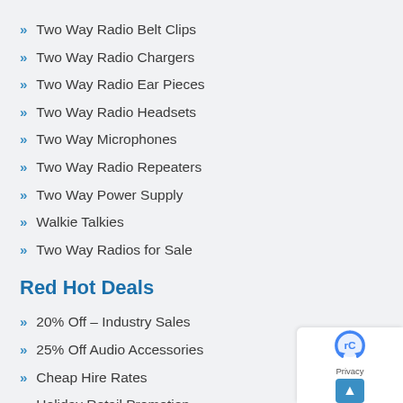Two Way Radio Belt Clips
Two Way Radio Chargers
Two Way Radio Ear Pieces
Two Way Radio Headsets
Two Way Microphones
Two Way Radio Repeaters
Two Way Power Supply
Walkie Talkies
Two Way Radios for Sale
Red Hot Deals
20% Off – Industry Sales
25% Off Audio Accessories
Cheap Hire Rates
Holiday Retail Promotion
Holiday Specials